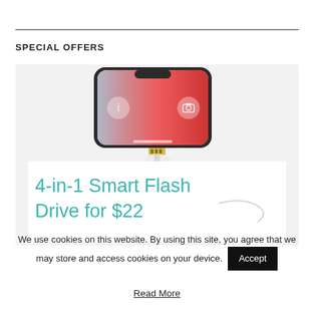SPECIAL OFFERS
[Figure (photo): Product advertisement image showing an iPhone X viewed from above with a lightning connector/4-in-1 Smart Flash Drive accessory plugged in, overlaid with a white card showing the text '4-in-1 Smart Flash Drive for $22']
We use cookies on this website. By using this site, you agree that we may store and access cookies on your device.
Accept
Read More